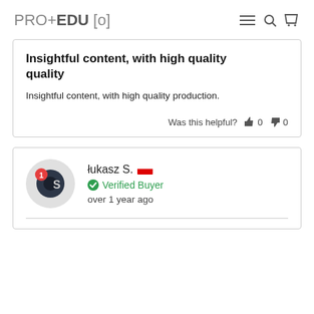PRO+EDU [o]
Insightful content, with high quality
Insightful content, with high quality production.
Was this helpful? 👍 0 👎 0
łukasz S. 🇵🇱
Verified Buyer
over 1 year ago